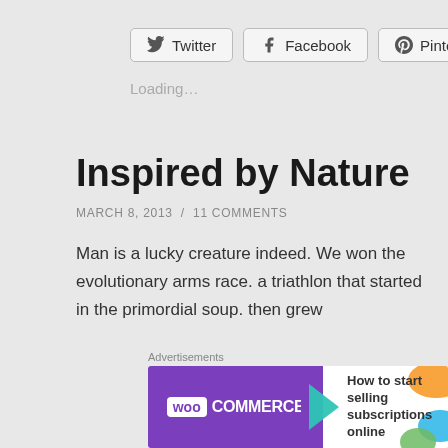[Figure (screenshot): Social share buttons for Twitter, Facebook, and Pinterest]
Loading…
Inspired by Nature
MARCH 8, 2013  /  11 COMMENTS
Man is a lucky creature indeed. We won the evolutionary arms race. a triathlon that started in the primordial soup. then grew
Advertisements
[Figure (screenshot): WooCommerce advertisement banner: How to start selling subscriptions online]